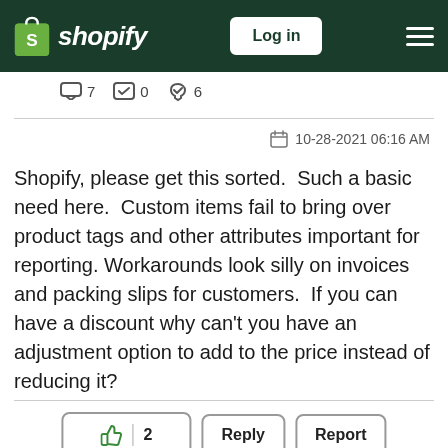Shopify — Log in
7  0  6
10-28-2021 06:16 AM
Shopify, please get this sorted.  Such a basic need here.  Custom items fail to bring over product tags and other attributes important for reporting.  Workarounds look silly on invoices and packing slips for customers.  If you can have a discount why can't you have an adjustment option to add to the price instead of reducing it?
👍 2  Reply  Report